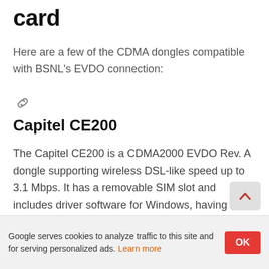card
Here are a few of the CDMA dongles compatible with BSNL's EVDO connection:
Capitel CE200
The Capitel CE200 is a CDMA2000 EVDO Rev. A dongle supporting wireless DSL-like speed up to 3.1 Mbps. It has a removable SIM slot and includes driver software for Windows, having features such as SMS, Phone Book, etc.
Google serves cookies to analyze traffic to this site and for serving personalized ads. Learn more